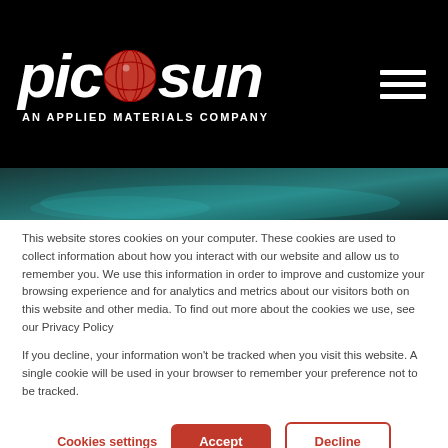[Figure (logo): Picosun logo with red globe element and tagline 'AN APPLIED MATERIALS COMPANY' on black header bar]
[Figure (photo): Abstract teal/dark banner image strip]
This website stores cookies on your computer. These cookies are used to collect information about how you interact with our website and allow us to remember you. We use this information in order to improve and customize your browsing experience and for analytics and metrics about our visitors both on this website and other media. To find out more about the cookies we use, see our Privacy Policy
If you decline, your information won't be tracked when you visit this website. A single cookie will be used in your browser to remember your preference not to be tracked.
Cookies settings  Accept  Decline